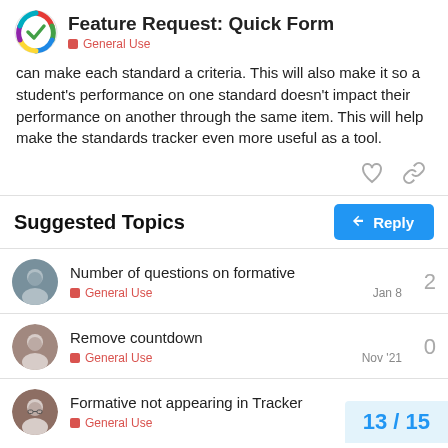Feature Request: Quick Form — General Use
can make each standard a criteria. This will also make it so a student's performance on one standard doesn't impact their performance on another through the same item. This will help make the standards tracker even more useful as a tool.
Suggested Topics
| Topic | Category | Replies | Date |
| --- | --- | --- | --- |
| Number of questions on formative | General Use | 2 | Jan 8 |
| Remove countdown | General Use | 0 | Nov '21 |
| Formative not appearing in Tracker | General Use |  |  |